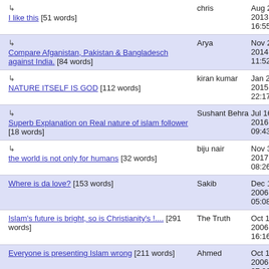↳ I like this [51 words] | chris | Aug 21, 2013 16:55
↳ Compare Afganistan, Pakistan & Bangladesch against India. [84 words] | Arya | Nov 23, 2014 11:52
↳ NATURE ITSELF IS GOD [112 words] | kiran kumar | Jan 22, 2015 22:17
↳ Superb Explanation on Real nature of islam follower [18 words] | Sushant Behra | Jul 16, 2016 09:43
↳ the world is not only for humans [32 words] | biju nair | Nov 3, 2017 08:26
Where is da love? [153 words] | Sakib | Dec 13, 2006 05:08
Islam's future is bright, so is Christianity's !.... [291 words] | The Truth | Oct 15, 2006 16:16
Everyone is presenting Islam wrong [211 words] | Ahmed | Oct 14, 2006 07:20